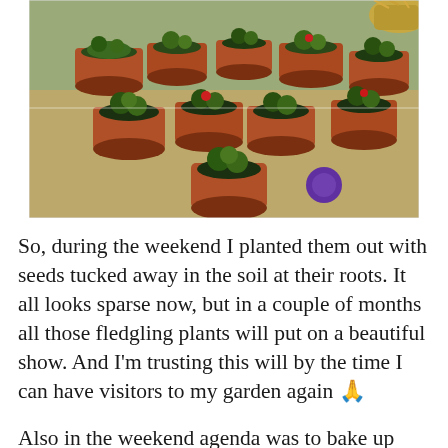[Figure (photo): Aerial/overhead view of numerous terracotta plant pots arranged on a patio or garden path, containing various small plants and seedlings, with some dried foliage visible in the corner, taken in bright sunlight.]
So, during the weekend I planted them out with seeds tucked away in the soil at their roots. It all looks sparse now, but in a couple of months all those fledgling plants will put on a beautiful show. And I'm trusting this will by the time I can have visitors to my garden again 🙏
Also in the weekend agenda was to bake up some healthy snacks to nourish me carefully, as along with my regular exercise of running and